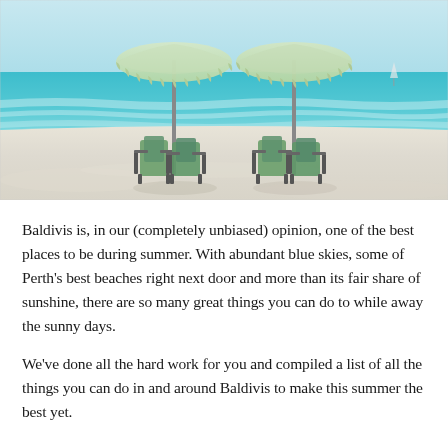[Figure (photo): Beach scene with two white/light green fringed parasol umbrellas and four green folding beach chairs on white sand, with turquoise ocean waves and light blue sky in the background.]
Baldivis is, in our (completely unbiased) opinion, one of the best places to be during summer. With abundant blue skies, some of Perth's best beaches right next door and more than its fair share of sunshine, there are so many great things you can do to while away the sunny days.
We've done all the hard work for you and compiled a list of all the things you can do in and around Baldivis to make this summer the best yet.